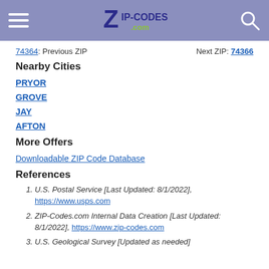ZIP-CODES.com header with hamburger menu and search icon
74364: Previous ZIP   Next ZIP: 74366
Nearby Cities
PRYOR
GROVE
JAY
AFTON
More Offers
Downloadable ZIP Code Database
References
1. U.S. Postal Service [Last Updated: 8/1/2022], https://www.usps.com
2. ZIP-Codes.com Internal Data Creation [Last Updated: 8/1/2022], https://www.zip-codes.com
3. U.S. Geological Survey [Updated as needed]